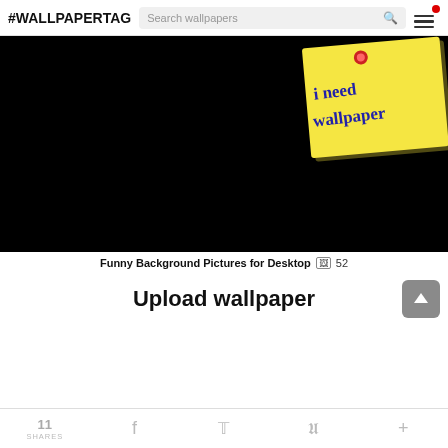#WALLPAPERTAG
[Figure (screenshot): Website screenshot showing a black background with a yellow sticky note in the upper right corner with text 'I need wallpaper' written in blue ink, pinned with a red thumbtack]
Funny Background Pictures for Desktop  52
Upload wallpaper
11 SHARES  [Facebook]  [Twitter]  [Pinterest]  [+]